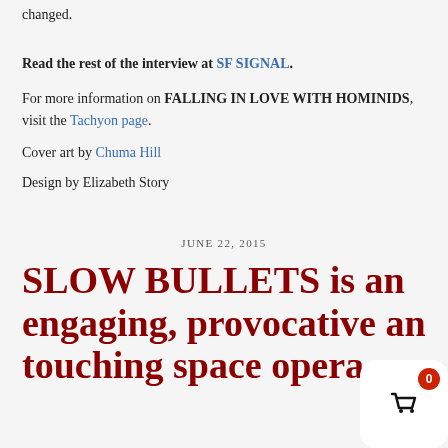changed.
Read the rest of the interview at SF SIGNAL.
For more information on FALLING IN LOVE WITH HOMINIDS, visit the Tachyon page.
Cover art by Chuma Hill
Design by Elizabeth Story
JUNE 22, 2015
SLOW BULLETS is an engaging, provocative and touching space opera